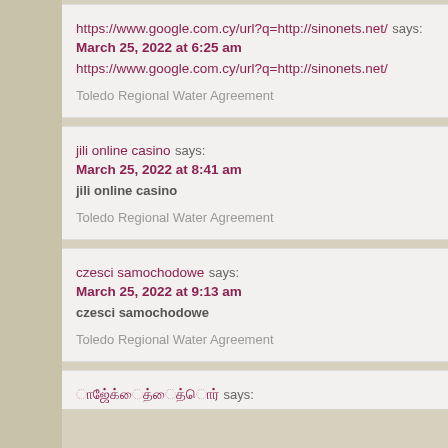https://www.google.com.cy/url?q=http://sinonets.net/ says: March 25, 2022 at 6:25 am https://www.google.com.cy/url?q=http://sinonets.net/ Toledo Regional Water Agreement
jili online casino says: March 25, 2022 at 8:41 am jili online casino Toledo Regional Water Agreement
czesci samochodowe says: March 25, 2022 at 9:13 am czesci samochodowe Toledo Regional Water Agreement
says: